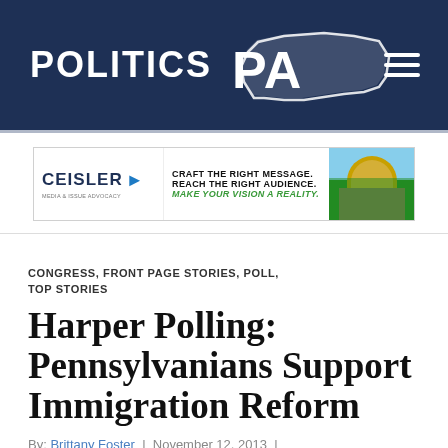POLITICS PA
[Figure (logo): Ceisler Media & Issue Advocacy ad banner: CRAFT THE RIGHT MESSAGE. REACH THE RIGHT AUDIENCE. MAKE YOUR VISION A REALITY.]
CONGRESS, FRONT PAGE STORIES, POLL, TOP STORIES
Harper Polling: Pennsylvanians Support Immigration Reform
By: Brittany Foster | November 12, 2013 |